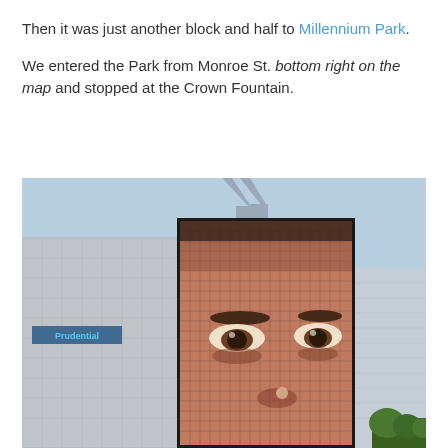Then it was just another block and half to Millennium Park.
We entered the Park from Monroe St. bottom right on the map and stopped at the Crown Fountain.
[Figure (photo): Photograph of Crown Fountain at Millennium Park, Chicago. A large LED video tower displays a close-up of a person's face (eyes and nose visible) rendered in mosaic tile style. Behind it are Chicago skyscrapers including two towers with pointed tops, the Prudential building, and other high-rises. Blue sky in background with trees at bottom right.]